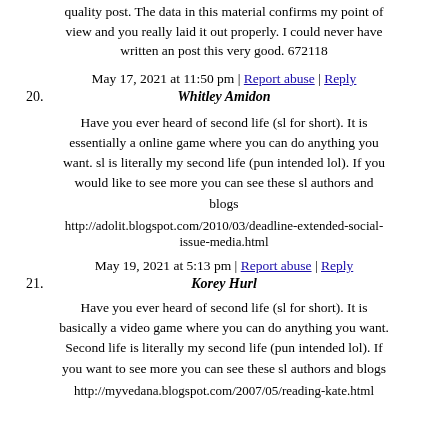quality post. The data in this material confirms my point of view and you really laid it out properly. I could never have written an post this very good. 672118
May 17, 2021 at 11:50 pm | Report abuse | Reply
20. Whitley Amidon
Have you ever heard of second life (sl for short). It is essentially a online game where you can do anything you want. sl is literally my second life (pun intended lol). If you would like to see more you can see these sl authors and blogs
http://adolit.blogspot.com/2010/03/deadline-extended-social-issue-media.html
May 19, 2021 at 5:13 pm | Report abuse | Reply
21. Korey Hurl
Have you ever heard of second life (sl for short). It is basically a video game where you can do anything you want. Second life is literally my second life (pun intended lol). If you want to see more you can see these sl authors and blogs
http://myvedana.blogspot.com/2007/05/reading-kate.html